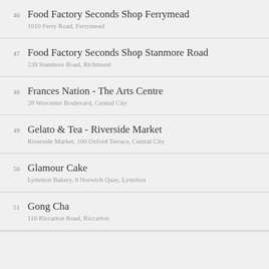46 Food Factory Seconds Shop Ferrymead
1010 Ferry Road, Ferrymead
47 Food Factory Seconds Shop Stanmore Road
239 Stanmore Road, Richmond
48 Frances Nation - The Arts Centre
28 Worcester Boulevard, Central City
49 Gelato & Tea - Riverside Market
Riverside Market, 100 Oxford Terrace, Central City
50 Glamour Cake
Lyttelton Bakery, 8 Norwich Quay, Lyttelton
51 Gong Cha
116 Riccarton Road, Riccarton